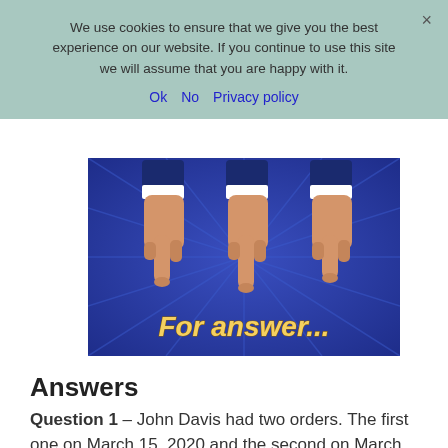We use cookies to ensure that we give you the best experience on our website. If you continue to use this site we will assume that you are happy with it.
Ok   No   Privacy policy
[Figure (illustration): Three pointing hands (fingers pointing downward) on a blue radial background with text 'For answer...' in yellow bold italic font at the bottom.]
Answers
Question 1 – John Davis had two orders. The first one on March 15, 2020 and the second on March 19, 2020. He placed two quantities of...